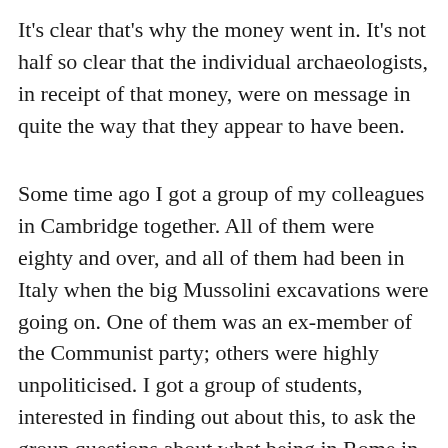It's clear that's why the money went in. It's not half so clear that the individual archaeologists, in receipt of that money, were on message in quite the way that they appear to have been.
Some time ago I got a group of my colleagues in Cambridge together. All of them were eighty and over, and all of them had been in Italy when the big Mussolini excavations were going on. One of them was an ex-member of the Communist party; others were highly unpoliticised. I got a group of students, interested in finding out about this, to ask the group questions about what being in Rome in the 1930s was all about. I expected at least the highly political ones would give me, possibly an anachronistic reading, but a very political reading…